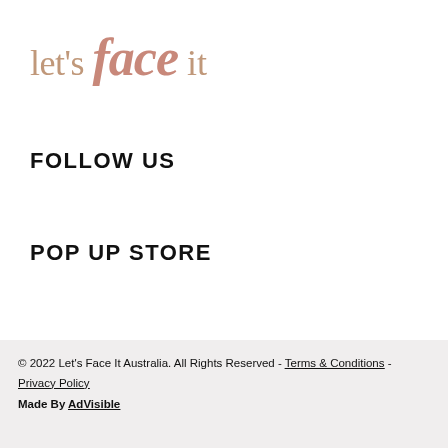let's face it
FOLLOW US
POP UP STORE
© 2022 Let's Face It Australia. All Rights Reserved - Terms & Conditions - Privacy Policy
Made By AdVisible